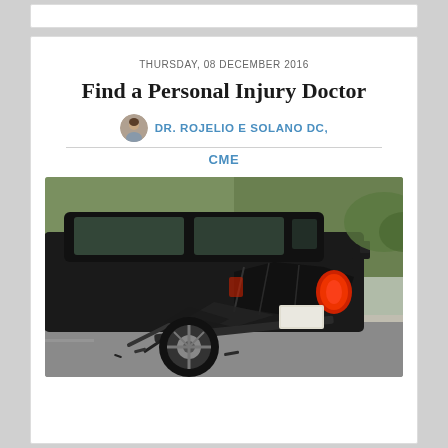THURSDAY, 08 DECEMBER 2016
Find a Personal Injury Doctor
DR. ROJELIO E SOLANO DC, CME
[Figure (photo): Rear-end collision damage on a dark SUV showing crumpled bumper and body panels with a red tail light cover visible, parked on a street with trees in background]